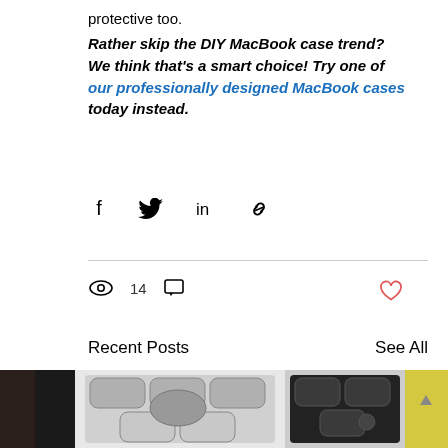protective too.
Rather skip the DIY MacBook case trend? We think that's a smart choice! Try one of our professionally designed MacBook cases today instead.
[Figure (infographic): Social share icons: Facebook, Twitter, LinkedIn, link/copy icon]
14 views, comment icon, heart/like icon
Recent Posts
See All
[Figure (photo): Photos of MacBook cases with hexagonal pattern designs in black and silver, partially visible, with a yellow background element on right]